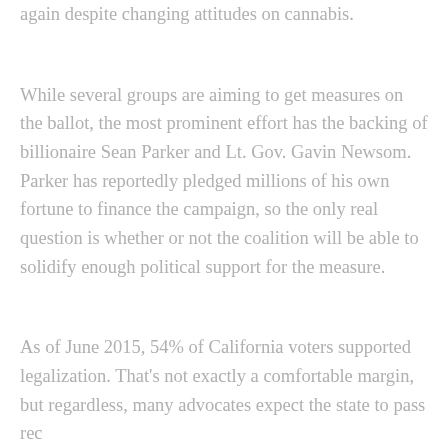again despite changing attitudes on cannabis.
While several groups are aiming to get measures on the ballot, the most prominent effort has the backing of billionaire Sean Parker and Lt. Gov. Gavin Newsom. Parker has reportedly pledged millions of his own fortune to finance the campaign, so the only real question is whether or not the coalition will be able to solidify enough political support for the measure.
As of June 2015, 54% of California voters supported legalization. That’s not exactly a comfortable margin, but regardless, many advocates expect the state to pass rec